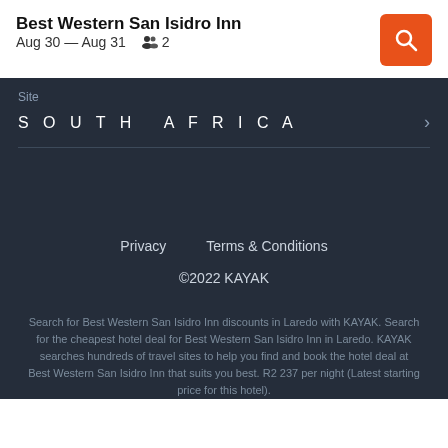Best Western San Isidro Inn
Aug 30 — Aug 31   2
Site
SOUTH AFRICA
Privacy   Terms & Conditions
©2022 KAYAK
Search for Best Western San Isidro Inn discounts in Laredo with KAYAK. Search for the cheapest hotel deal for Best Western San Isidro Inn in Laredo. KAYAK searches hundreds of travel sites to help you find and book the hotel deal at Best Western San Isidro Inn that suits you best. R2 237 per night (Latest starting price for this hotel).